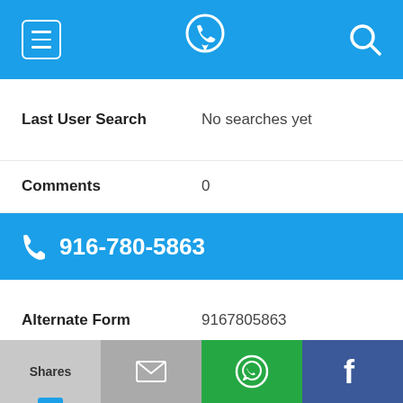[Figure (screenshot): Mobile app top navigation bar with hamburger menu, phone/location icon, and search icon on blue background]
Last User Search    No searches yet
Comments    0
916-780-5863
Alternate Form    9167805863
Caller name    Rachel Pangburn
Last User Search    No searches yet
Comments    0
[Figure (screenshot): Bottom share bar with Shares, email, WhatsApp, and Facebook icons]